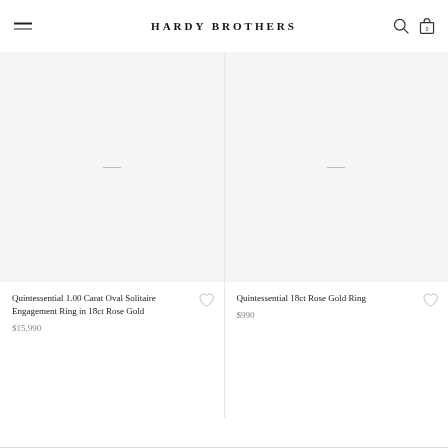HARDY BROTHERS
[Figure (photo): Product image placeholder for Quintessential 1.00 Carat Oval Solitaire Engagement Ring in 18ct Rose Gold — light grey background with a short dash mark]
Quintessential 1.00 Carat Oval Solitaire Engagement Ring in 18ct Rose Gold
$15,990
[Figure (photo): Product image placeholder for Quintessential 18ct Rose Gold Ring — light grey background with a short dash mark]
Quintessential 18ct Rose Gold Ring
$990